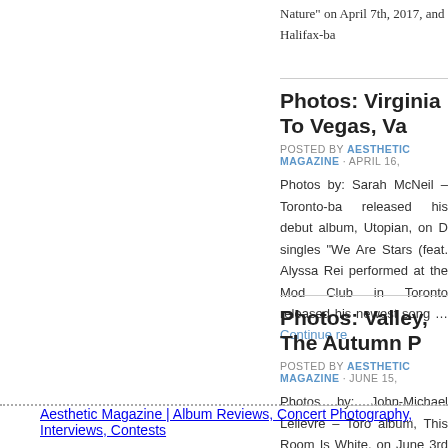Nature" on April 7th, 2017, and Halifax-ba
Photos: Virginia To Vegas, Va
POSTED BY AESTHETIC MAGAZINE · APRIL 16,
Photos by: Sarah McNeil – Toronto-ba released his debut album, Utopian, on D singles "We Are Stars (feat. Alyssa Rei performed at the Mod Club in Toronto released his newest song … Continue re
Photos: Valley, The Autumn P
POSTED BY AESTHETIC MAGAZINE · JUNE 15,
Photos by: John-Michael Lelievre – Toro album, This Room Is White, on June 3rd with Toronto-based singer-songwriter Th Love, on October 2nd, 2012, and who is
Aesthetic Magazine | Album Reviews, Concert Photography, Interviews, Contests